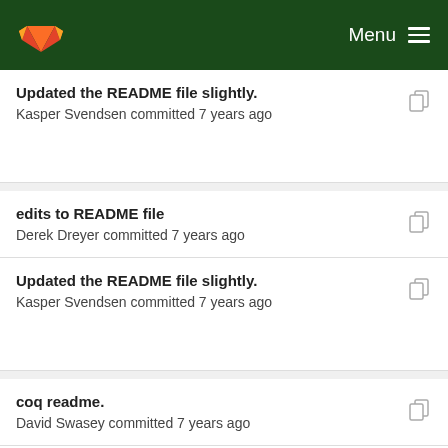GitLab — Menu
Updated the README file slightly.
Kasper Svendsen committed 7 years ago
edits to README file
Derek Dreyer committed 7 years ago
Updated the README file slightly.
Kasper Svendsen committed 7 years ago
coq readme.
David Swasey committed 7 years ago
Updated the README file slightly.
Kasper Svendsen committed 7 years ago